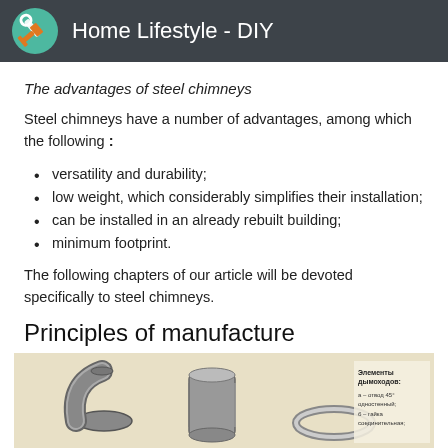Home Lifestyle - DIY
The advantages of steel chimneys
Steel chimneys have a number of advantages, among which the following :
versatility and durability;
low weight, which considerably simplifies their installation;
can be installed in an already rebuilt building;
minimum footprint.
The following chapters of our article will be devoted specifically to steel chimneys.
Principles of manufacture
[Figure (photo): Chimney components photo showing curved elbow pipes, cylindrical pipe section, round clamp ring, and a labeled diagram in Russian listing elements: а – отвод 45° одностенный; б – гайка соединительная;]